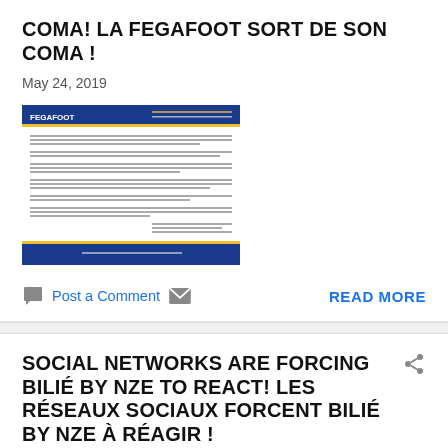COMA! LA FEGAFOOT SORT DE SON COMA !
May 24, 2019
[Figure (screenshot): Thumbnail image of a FEGAFOOT official document/letter with blue header and footer]
Post a Comment  READ MORE
SOCIAL NETWORKS ARE FORCING BILIÉ BY NZE TO REACT! LES RÉSEAUX SOCIAUX FORCENT BILIÉ BY NZE À RÉAGIR !